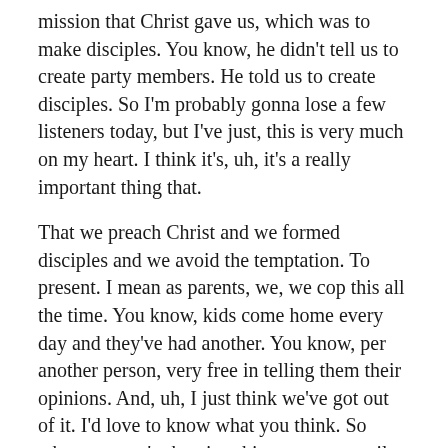mission that Christ gave us, which was to make disciples. You know, he didn't tell us to create party members. He told us to create disciples. So I'm probably gonna lose a few listeners today, but I've just, this is very much on my heart. I think it's, uh, it's a really important thing that.
That we preach Christ and we formed disciples and we avoid the temptation. To present. I mean as parents, we, we cop this all the time. You know, kids come home every day and they've had another. You know, per another person, very free in telling them their opinions. And, uh, I just think we've got out of it. I'd love to know what you think. So wherever you're hearing this, you can email me jonathan@onecatholicteacher.com.
Uh, you can unsubscribe and never listen to me again, but I just really believe that this is an important thing and I think for this to work,